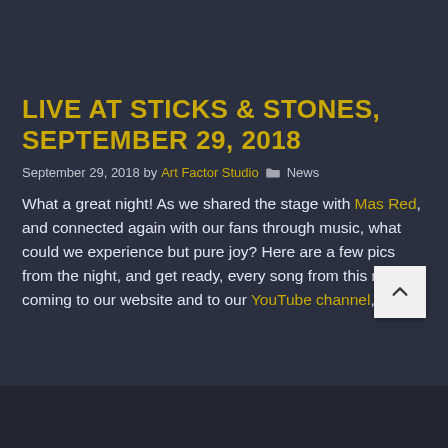[Figure (photo): Dark concert/band photo banner showing drums and musical performance on stage with warm and cool tones]
LIVE AT STICKS & STONES, SEPTEMBER 29, 2018
September 29, 2018 by Art Factor Studio  News
What a great night! As we shared the stage with Mas Red, and connected again with our fans through music, what could we experience but pure joy? Here are a few pics from the night, and get ready, every song from this night is coming to our website and to our YouTube channel, soon!